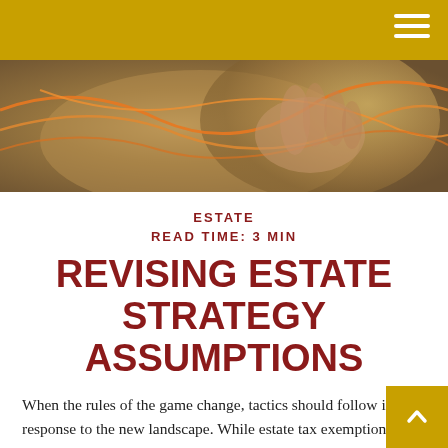[Figure (photo): Close-up photo of hands weaving or working with orange/amber colored fibers or threads against a blurred background with people.]
ESTATE
READ TIME: 3 MIN
REVISING ESTATE STRATEGY ASSUMPTIONS
When the rules of the game change, tactics should follow in response to the new landscape. While estate tax exemptions have ridden an uncertain roller coaster in recent years, the rules appear to be stabilizing after the passing of the Tax Cuts and Jobs Act, prompting many to